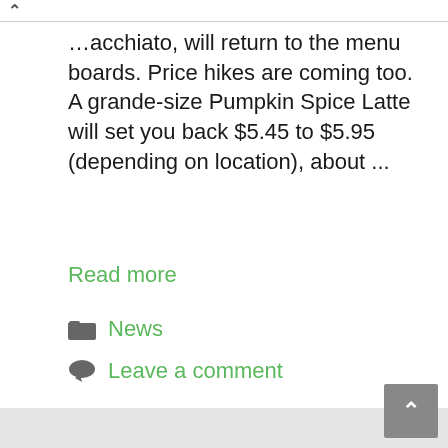…acchiato, will return to the menu boards. Price hikes are coming too. A grande-size Pumpkin Spice Latte will set you back $5.45 to $5.95 (depending on location), about ...
Read more
News
Leave a comment